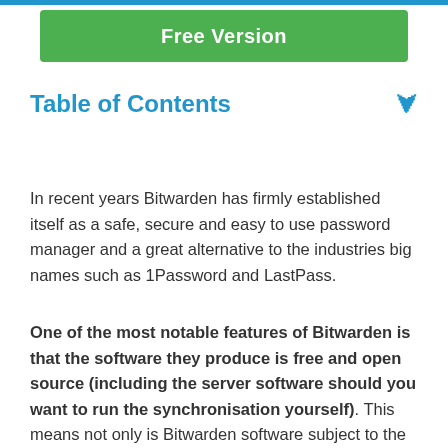[Figure (other): Green button labeled 'Free Version']
Table of Contents
In recent years Bitwarden has firmly established itself as a safe, secure and easy to use password manager and a great alternative to the industries big names such as 1Password and LastPass.
One of the most notable features of Bitwarden is that the software they produce is free and open source (including the server software should you want to run the synchronisation yourself). This means not only is Bitwarden software subject to the highest security